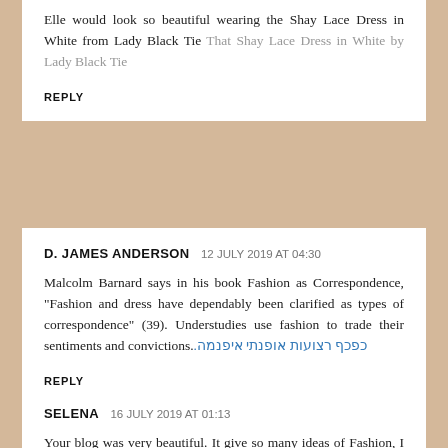Elle would look so beautiful wearing the Shay Lace Dress in White from Lady Black Tie That Shay Lace Dress in White by Lady Black Tie
REPLY
D. JAMES ANDERSON 12 JULY 2019 AT 04:30
Malcolm Barnard says in his book Fashion as Correspondence, "Fashion and dress have dependably been clarified as types of correspondence" (39). Understudies use fashion to trade their sentiments and convictions.כפכף רצועות אופנתי איפנמה.
REPLY
SELENA 16 JULY 2019 AT 01:13
Your blog was very beautiful. It give so many ideas of Fashion, I can learn through your blog which is very helpful